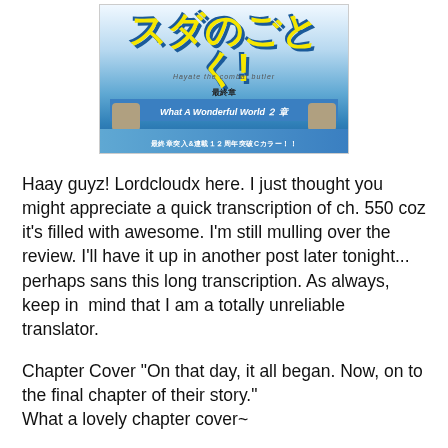[Figure (illustration): Manga cover image with Japanese text and title 'What A Wonderful World', showing large stylized Japanese characters in yellow, subtitle text, a blue banner, and boots at the bottom.]
Haay guyz! Lordcloudx here. I just thought you might appreciate a quick transcription of ch. 550 coz it's filled with awesome. I'm still mulling over the review. I'll have it up in another post later tonight... perhaps sans this long transcription. As always, keep in  mind that I am a totally unreliable translator.
Chapter Cover "On that day, it all began. Now, on to the final chapter of their story."
What a lovely chapter cover~
Himegami: S'up Ayasaki Hayate? This be our first meetin face to face right?